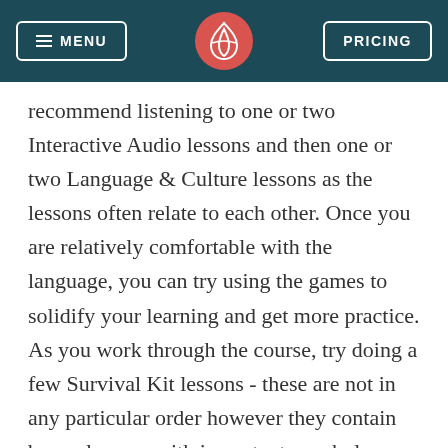MENU | [logo] | PRICING
recommend listening to one or two Interactive Audio lessons and then one or two Language & Culture lessons as the lessons often relate to each other. Once you are relatively comfortable with the language, you can try using the games to solidify your learning and get more practice. As you work through the course, try doing a few Survival Kit lessons - these are not in any particular order however they contain bonus lessons with important vocabulary that you will find useful throughout the course like colors, days of the week, etc. For extra practice, check out